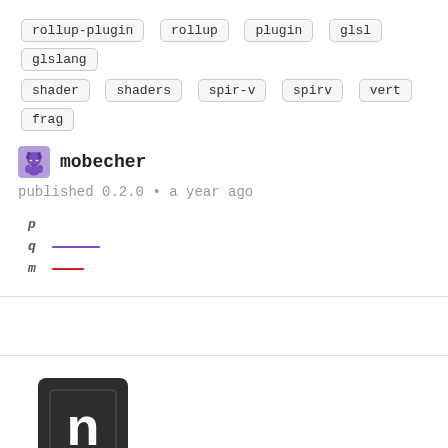rollup-plugin rollup plugin glsl glslang
shader shaders spir-v spirv vert frag
mobecher
published 0.2.0 • a year ago
[Figure (other): Legend with p, q (purple line), m (red line) entries]
[Figure (logo): npm logo - dark square with 'n' lettermark]
[Figure (logo): GitHub logo - black octocat icon]